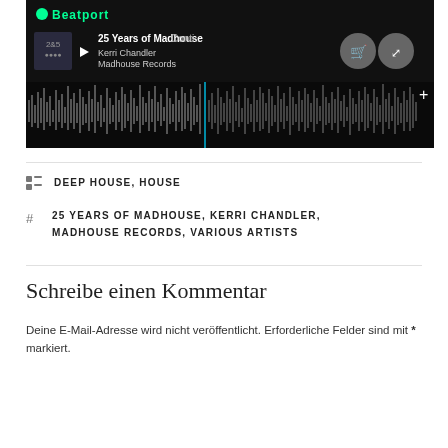[Figure (screenshot): Beatport music player showing '25 Years of Madhouse Conti...' by Kerri Chandler on Madhouse Records, with waveform display on dark background]
DEEP HOUSE, HOUSE
25 YEARS OF MADHOUSE, KERRI CHANDLER, MADHOUSE RECORDS, VARIOUS ARTISTS
Schreibe einen Kommentar
Deine E-Mail-Adresse wird nicht veröffentlicht. Erforderliche Felder sind mit * markiert.